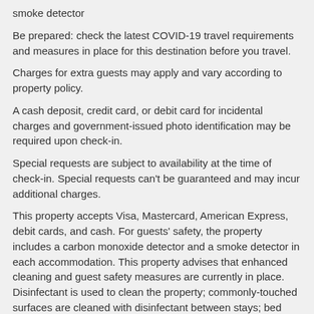smoke detector
Be prepared: check the latest COVID-19 travel requirements and measures in place for this destination before you travel.
Charges for extra guests may apply and vary according to property policy.
A cash deposit, credit card, or debit card for incidental charges and government-issued photo identification may be required upon check-in.
Special requests are subject to availability at the time of check-in. Special requests can't be guaranteed and may incur additional charges.
This property accepts Visa, Mastercard, American Express, debit cards, and cash. For guests' safety, the property includes a carbon monoxide detector and a smoke detector in each accommodation. This property advises that enhanced cleaning and guest safety measures are currently in place. Disinfectant is used to clean the property; commonly-touched surfaces are cleaned with disinfectant between stays; bed sheets and towels are laundered at a temperature of at least 60°C/140°F. Social distancing measures are in place; staff at the property wear personal protective equipment; a shield is in place between staff and guests in main contact areas; periodic temperature checks are conducted on staff; guests are provided with hand sanitizer. Contactless check-in and contactless check-out are available. Individually-wrapped food options are available for breakfast. This property affirms that it follows the cleaning and disinfection practices of ALLSAFE (Accor Hotels).